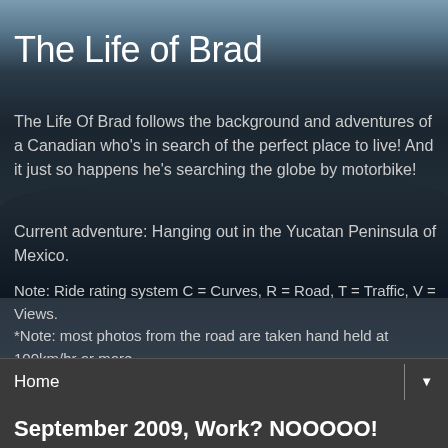[Figure (photo): Dark scenic background photo showing a twilight landscape with mountains/hills silhouette and sky gradient from blue-gray at top to very dark at bottom]
The Life of Brad
The Life Of Brad follows the background and adventures of a Canadian who's in search of the perfect place to live! And it just so happens he's searching the globe by motorbike!
Current adventure: Hanging out in the Yucatan Peninsula of Mexico.
Note: Ride rating system C = Curves, R = Road, T = Traffic, V = Views.
*Note: most photos from the road are taken hand held at 100km/hr or more.
Home ▼
September 2009, Work? NOOOOO!